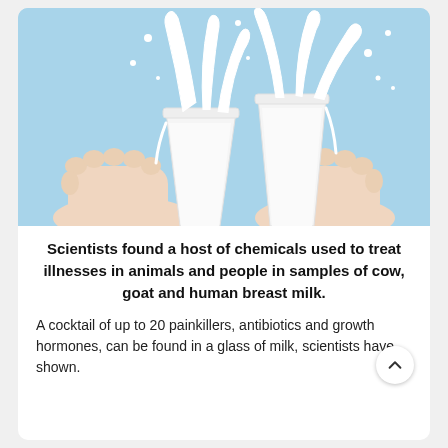[Figure (photo): Two hands from opposite sides toasting/clinking white cups of milk against a light blue background, with milk splashing dramatically upward from both cups.]
Scientists found a host of chemicals used to treat illnesses in animals and people in samples of cow, goat and human breast milk.
A cocktail of up to 20 painkillers, antibiotics and growth hormones, can be found in a glass of milk, scientists have shown.